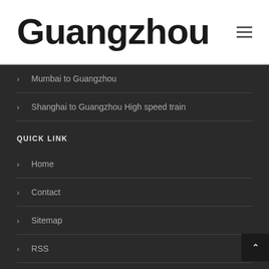Guangzhou
Mumbai to Guangzhou
Shanghai to Guangzhou High speed train
QUICK LINK
Home
Contact
Sitemap
RSS